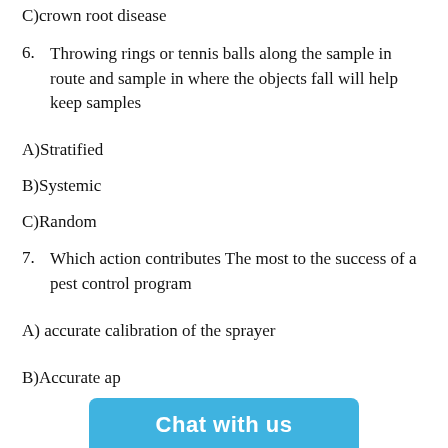C)crown root disease
6. Throwing rings or tennis balls along the sample in route and sample in where the objects fall will help keep samples
A)Stratified
B)Systemic
C)Random
7. Which action contributes The most to the success of a pest control program
A) accurate calibration of the sprayer
B)Accurate ap[plication of pesticide]